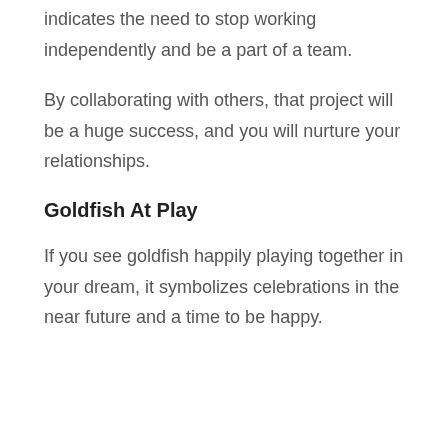indicates the need to stop working independently and be a part of a team.
By collaborating with others, that project will be a huge success, and you will nurture your relationships.
Goldfish At Play
If you see goldfish happily playing together in your dream, it symbolizes celebrations in the near future and a time to be happy.